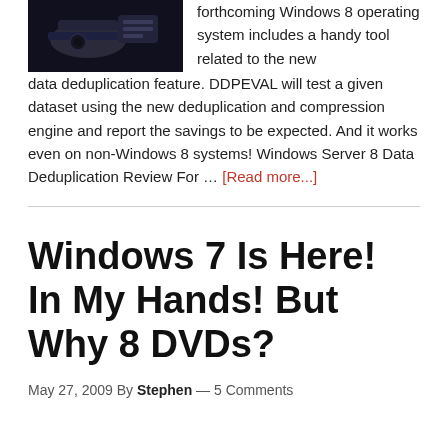[Figure (photo): Dark image showing what appears to be tech/storage devices on a dark background, partially cropped at top left]
forthcoming Windows 8 operating system includes a handy tool related to the new data deduplication feature. DDPEVAL will test a given dataset using the new deduplication and compression engine and report the savings to be expected. And it works even on non-Windows 8 systems! Windows Server 8 Data Deduplication Review For … [Read more...]
Windows 7 Is Here! In My Hands! But Why 8 DVDs?
May 27, 2009 By Stephen — 5 Comments